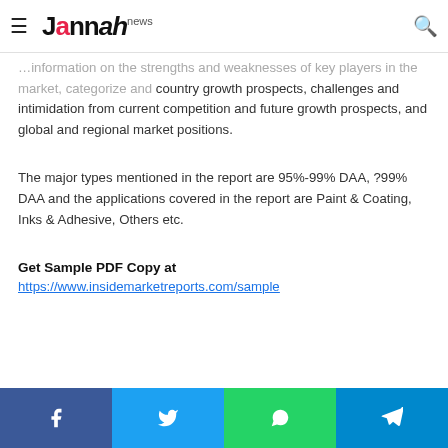Jannah news
…information on the strengths and weaknesses of key players in the market, categorize and country growth prospects, challenges and intimidation from current competition and future growth prospects, and global and regional market positions.
The major types mentioned in the report are 95%-99% DAA, ?99% DAA and the applications covered in the report are Paint & Coating, Inks & Adhesive, Others etc.
Get Sample PDF Copy at
https://www.insidemarketreports.com/sample